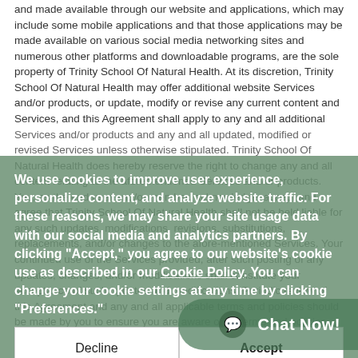and made available through our website and applications, which may include some mobile applications and that those applications may be made available on various social media networking sites and numerous other platforms and downloadable programs, are the sole property of Trinity School Of Natural Health. At its discretion, Trinity School Of Natural Health may offer additional website Services and/or products, or update, modify or revise any current content and Services, and this Agreement shall apply to any and all additional Services and/or products and any and all updated, modified or revised Services unless otherwise stipulated. Trinity School Of Natural Health does hereby reserve the right to change any and all content relating to the aforementioned Services and/or products. You, as the end user and/or member, acknowledge, accept and agree that Trinity School Of Natural Health shall not be held liable for any such updates, modifications, revisions, substitutions, replacements, and/or changes to the afore-mentioned Services. Your continued use of the Services provided, after such posting of any updates, changes, and/or modifications shall constitute your acceptance of such updates and modifications. Periodic review of this Agreement and any and all applicable terms and policies should be made by you to ensure you are aware of all terms and policies currently in effect. Should you not agree to the updated, modified, revised or modified terms, you must stop using the provided Services.
We use cookies to improve user experience, personalize content, and analyze website traffic. For these reasons, we may share your site usage data with our social media and analytics partners. By clicking "Accept," you agree to our website's cookie use as described in our Cookie Policy. You can change your cookie settings at any time by clicking "Preferences."
Furthermore, the user and/or member understands and acknowledges that the Services offered shall be provided "as is" and Trinity School Of Natural Health shall not assume any responsibility or obligation for the timeliness, missed delivery, deletion and/or any failure to store user content